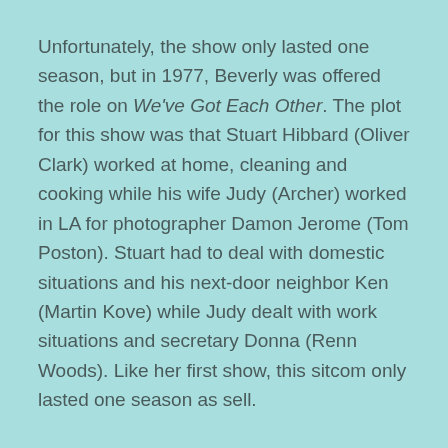Unfortunately, the show only lasted one season, but in 1977, Beverly was offered the role on We've Got Each Other. The plot for this show was that Stuart Hibbard (Oliver Clark) worked at home, cleaning and cooking while his wife Judy (Archer) worked in LA for photographer Damon Jerome (Tom Poston). Stuart had to deal with domestic situations and his next-door neighbor Ken (Martin Kove) while Judy dealt with work situations and secretary Donna (Renn Woods). Like her first show, this sitcom only lasted one season as sell.
In 1976 she accepted another permanent role as Mrs. Robert Bernard. She met her husband through an acting teacher. He was also an actor, doing a lot of voice-over work.